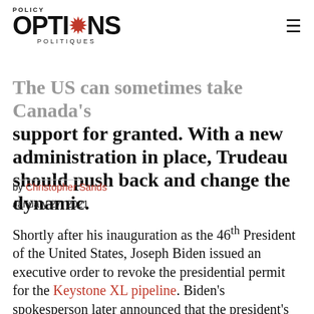POLICY OPTIONS POLITIQUES
The US can sometimes take Canada's support for granted. With a new administration in place, Trudeau should push back and change the dynamic.
by Christopher Sands
January 27, 2021
Shortly after his inauguration as the 46th President of the United States, Joseph Biden issued an executive order to revoke the presidential permit for the Keystone XL pipeline. Biden's spokesperson later announced that the president's first call